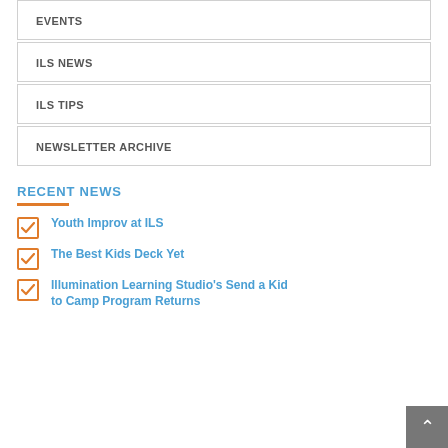EVENTS
ILS NEWS
ILS TIPS
NEWSLETTER ARCHIVE
RECENT NEWS
Youth Improv at ILS
The Best Kids Deck Yet
Illumination Learning Studio's Send a Kid to Camp Program Returns